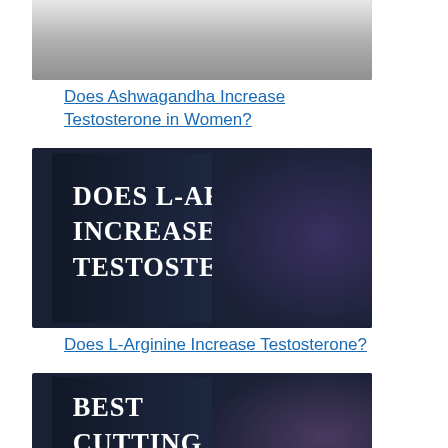[Figure (photo): Woman in fitness attire with arms crossed in a gym setting]
Does Ashwagandha Increase Testosterone in Women?
[Figure (photo): Dark image with text 'DOES L-ARGININE INCREASE TESTOSTERONE?' overlaid on a muscular figure]
Does L-Arginine Increase Testosterone?
[Figure (photo): Dark image with text 'BEST CUTTING SUPPLEMENTS' overlaid on a muscular figure]